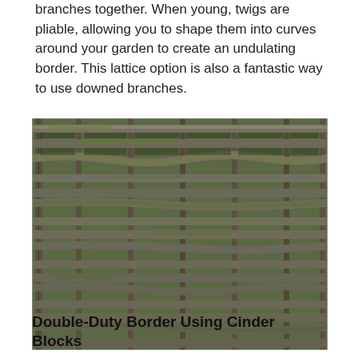branches together. When young, twigs are pliable, allowing you to shape them into curves around your garden to create an undulating border. This lattice option is also a fantastic way to use downed branches.
[Figure (photo): Close-up photograph of a wattle fence or hurdle made from interwoven branches and twigs, showing horizontal branches laced through vertical stakes, with green moss growing on the branches.]
Double-Duty Border Using Cinder Blocks